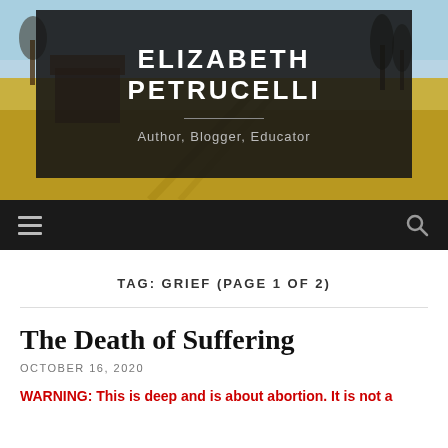[Figure (photo): Outdoor landscape photo showing golden fields with trees and blue sky, used as website header background]
ELIZABETH PETRUCELLI
Author, Blogger, Educator
TAG: GRIEF (PAGE 1 OF 2)
The Death of Suffering
OCTOBER 16, 2020
WARNING: This is deep and is about abortion. It is not a